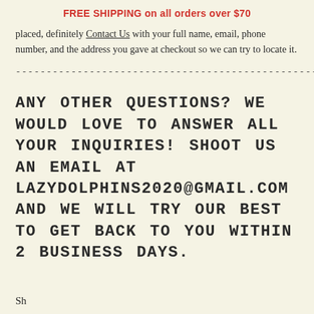FREE SHIPPING on all orders over $70
placed, definitely Contact Us with your full name, email, phone number, and the address you gave at checkout so we can try to locate it.
---------------------------------------------------
ANY OTHER QUESTIONS? WE WOULD LOVE TO ANSWER ALL YOUR INQUIRIES! SHOOT US AN EMAIL AT LAZYDOLPHINS2020@GMAIL.COM AND WE WILL TRY OUR BEST TO GET BACK TO YOU WITHIN 2 BUSINESS DAYS.
Sh...